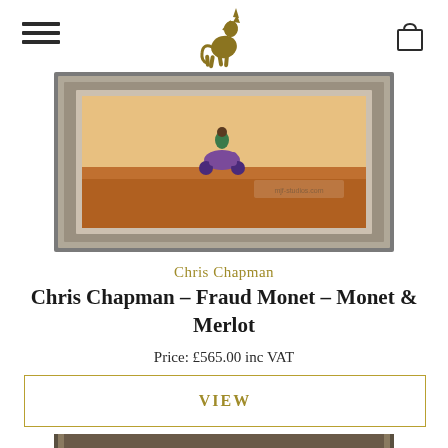Navigation header with hamburger menu, unicorn logo, and cart icon
[Figure (photo): A framed artwork showing a figure riding a purple scooter/vespa across a warm brown landscape, displayed in a silver ornate frame. Partial view cropped from top.]
Chris Chapman
Chris Chapman – Fraud Monet – Monet & Merlot
Price: £565.00 inc VAT
VIEW
[Figure (photo): Bottom portion of another framed artwork, partially visible at the bottom of the page.]